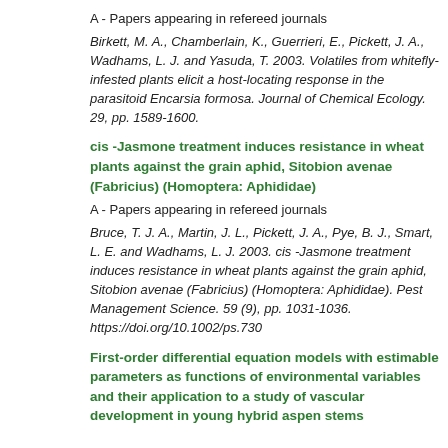A - Papers appearing in refereed journals
Birkett, M. A., Chamberlain, K., Guerrieri, E., Pickett, J. A., Wadhams, L. J. and Yasuda, T. 2003. Volatiles from whitefly-infested plants elicit a host-locating response in the parasitoid Encarsia formosa. Journal of Chemical Ecology. 29, pp. 1589-1600.
cis -Jasmone treatment induces resistance in wheat plants against the grain aphid, Sitobion avenae (Fabricius) (Homoptera: Aphididae)
A - Papers appearing in refereed journals
Bruce, T. J. A., Martin, J. L., Pickett, J. A., Pye, B. J., Smart, L. E. and Wadhams, L. J. 2003. cis -Jasmone treatment induces resistance in wheat plants against the grain aphid, Sitobion avenae (Fabricius) (Homoptera: Aphididae). Pest Management Science. 59 (9), pp. 1031-1036. https://doi.org/10.1002/ps.730
First-order differential equation models with estimable parameters as functions of environmental variables and their application to a study of vascular development in young hybrid aspen stems